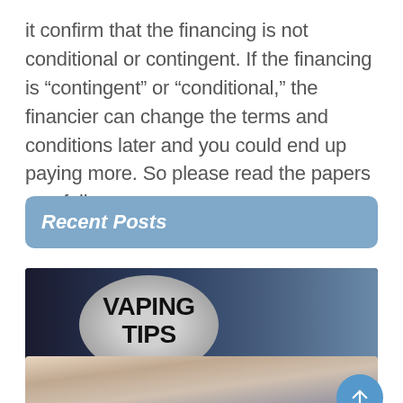it confirm that the financing is not conditional or contingent. If the financing is “contingent” or “conditional,” the financier can change the terms and conditions later and you could end up paying more. So please read the papers carefully.
Recent Posts
[Figure (photo): Vaping Tips card image with circular emblem showing 'VAPING TIPS' text in bold on a grey circle background, dark background with smoke. Caption bar reads 'How To Choose The Best Vaporizer?']
How To Choose The Best Vaporizer?
August 16, 20...
[Figure (photo): Partial image of a person, blurred, appearing at the bottom of the page.]